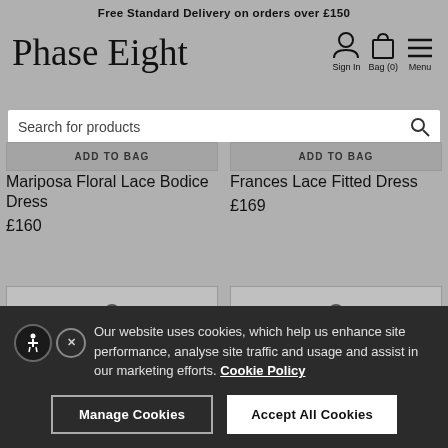Free Standard Delivery on orders over £150
[Figure (logo): Phase Eight cursive logo]
Sign In   Bag (0)   Menu
Search for products
ADD TO BAG
Mariposa Floral Lace Bodice Dress
£160
ADD TO BAG
Frances Lace Fitted Dress
£169
Our website uses cookies, which help us enhance site performance, analyse site traffic and usage and assist in our marketing efforts. Cookie Policy
Manage Cookies
Accept All Cookies